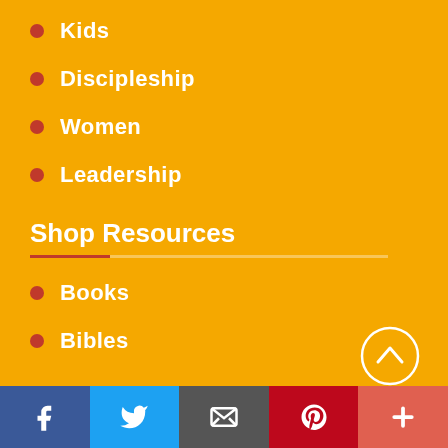Kids
Discipleship
Women
Leadership
Shop Resources
Books
Bibles